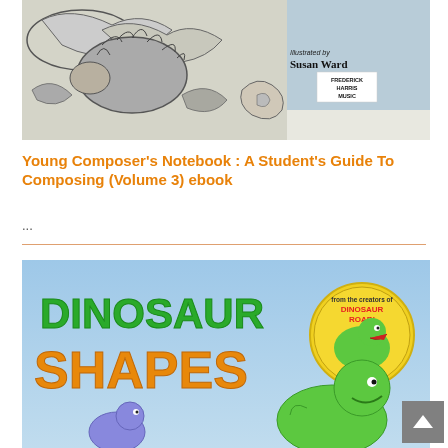[Figure (photo): Book cover of Young Composer's Notebook showing a pencil sketch illustration of a hedgehog or porcupine among leaves, with text 'Illustrated by Susan Ward' and Frederick Harris Music publisher logo. Light blue background.]
Young Composer's Notebook : A Student's Guide To Composing (Volume 3) ebook
...
[Figure (photo): Book cover of Dinosaur Shapes showing colorful cartoon text 'DINOSAUR SHAPES' in green and orange letters on a light blue background with cartoon dinosaur characters and a circular badge reading 'from the creators of DINOSAUR ROAR!']